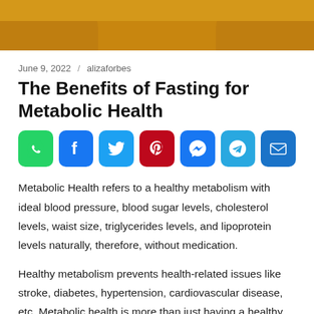[Figure (photo): Cropped photo of a person in a yellow shirt, showing torso/arms area from above]
June 9, 2022 / alizaforbes
The Benefits of Fasting for Metabolic Health
[Figure (infographic): Row of social media share icons: WhatsApp, Facebook, Twitter, Pinterest, Messenger, Telegram, Email]
Metabolic Health refers to a healthy metabolism with ideal blood pressure, blood sugar levels, cholesterol levels, waist size, triglycerides levels, and lipoprotein levels naturally, therefore, without medication.
Healthy metabolism prevents health-related issues like stroke, diabetes, hypertension, cardiovascular disease, etc. Metabolic health is more than just having a healthy